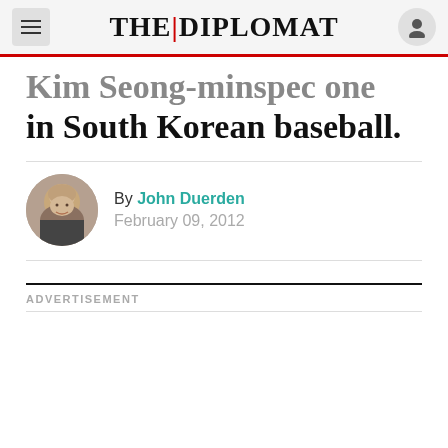THE DIPLOMAT
in South Korean baseball.
By John Duerden
February 09, 2012
ADVERTISEMENT